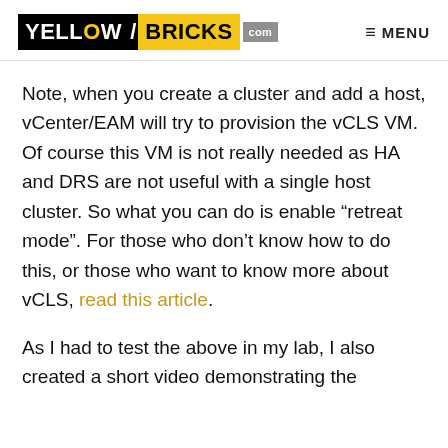YELLOW/BRICKS .com  ≡ MENU
Note, when you create a cluster and add a host, vCenter/EAM will try to provision the vCLS VM. Of course this VM is not really needed as HA and DRS are not useful with a single host cluster. So what you can do is enable "retreat mode". For those who don't know how to do this, or those who want to know more about vCLS, read this article.
As I had to test the above in my lab, I also created a short video demonstrating the